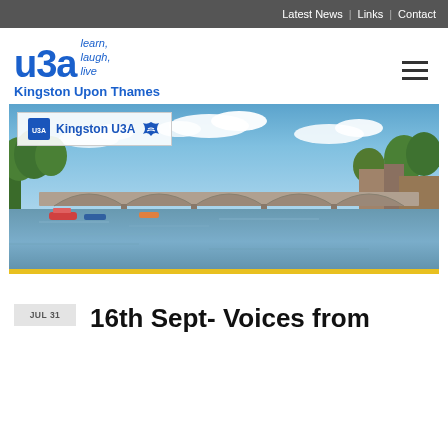Latest News | Links | Contact
[Figure (logo): u3a learn, laugh, live - Kingston Upon Thames logo]
[Figure (photo): Photograph of Kingston Upon Thames bridge over the River Thames with trees and boats, with a Kingston U3A badge overlay]
16th Sept- Voices from